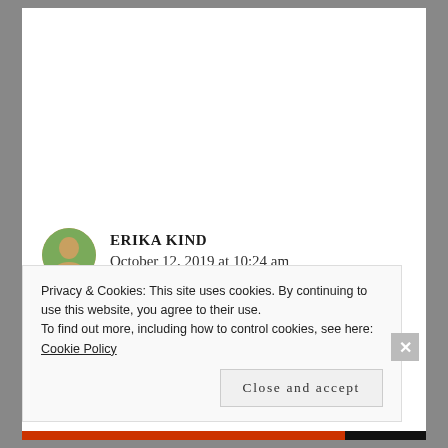ERIKA KIND
October 12, 2019 at 10:24 am
If it doesn’t work one way doesn’t mean it doesn’t work in any way. I would first check
Privacy & Cookies: This site uses cookies. By continuing to use this website, you agree to their use.
To find out more, including how to control cookies, see here: Cookie Policy
Close and accept